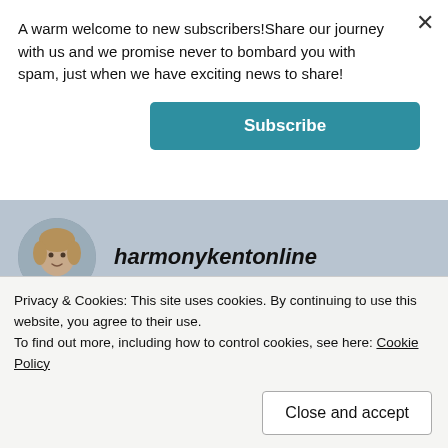A warm welcome to new subscribers!Share our journey with us and we promise never to bombard you with spam, just when we have exciting news to share!
Subscribe
harmonykentonline
NOVEMBER 9, 2021 AT 10:18 AM
Lovely teaser for Jan's book. Thanks for sharing, ladies! 💕 🙂
Privacy & Cookies: This site uses cookies. By continuing to use this website, you agree to their use.
To find out more, including how to control cookies, see here: Cookie Policy
Close and accept